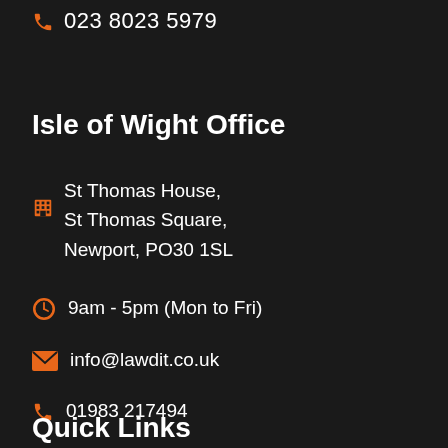023 8023 5979
Isle of Wight Office
St Thomas House, St Thomas Square, Newport, PO30 1SL
9am - 5pm (Mon to Fri)
info@lawdit.co.uk
01983 217494
Quick Links